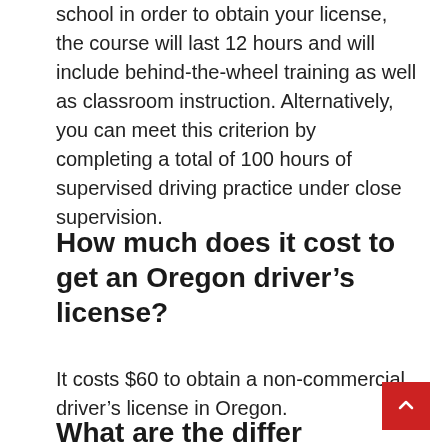school in order to obtain your license, the course will last 12 hours and will include behind-the-wheel training as well as classroom instruction. Alternatively, you can meet this criterion by completing a total of 100 hours of supervised driving practice under close supervision.
How much does it cost to get an Oregon driver’s license?
It costs $60 to obtain a non-commercial driver’s license in Oregon.
What are the differ...